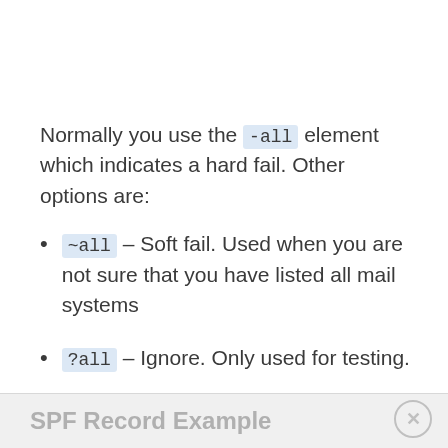Normally you use the -all element which indicates a hard fail. Other options are:
~all – Soft fail. Used when you are not sure that you have listed all mail systems
?all – Ignore. Only used for testing.
SPF Record Example